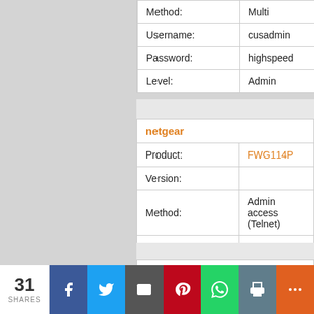| Field | Value |
| --- | --- |
| Method: | Multi |
| Username: | cusadmin |
| Password: | highspeed |
| Level: | Admin |
| netgear |  |
| --- | --- |
| Product: | FWG114P |
| Version: |  |
| Method: | Admin access (Telnet) |
| Username: | (none) |
| Password: | 1234 |
| Level: |  |
| netgear |  |
| --- | --- |
| Product: | RP614 |
31 SHARES
31 SHARES | Facebook | Twitter | Email | Pinterest | WhatsApp | Print | More